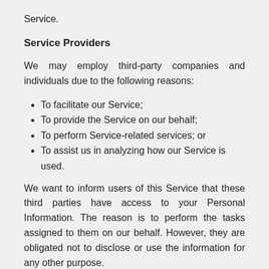Service.
Service Providers
We may employ third-party companies and individuals due to the following reasons:
To facilitate our Service;
To provide the Service on our behalf;
To perform Service-related services; or
To assist us in analyzing how our Service is used.
We want to inform users of this Service that these third parties have access to your Personal Information. The reason is to perform the tasks assigned to them on our behalf. However, they are obligated not to disclose or use the information for any other purpose.
Security